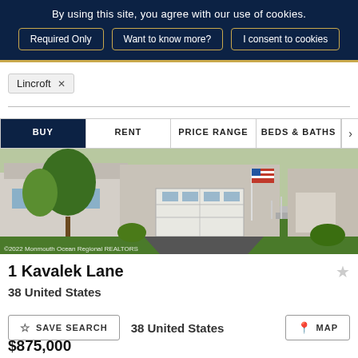By using this site, you agree with our use of cookies.
Required Only | Want to know more? | I consent to cookies
Lincroft ×
BUY  RENT  PRICE RANGE  BEDS & BATHS  >
[Figure (photo): Exterior photo of a house at 1 Kavalek Lane with garage, American flag, and landscaping. Watermark: ©2022 Monmouth Ocean Regional REALTORS]
1 Kavalek Lane
38 United States
$875,000
SAVE SEARCH
MAP